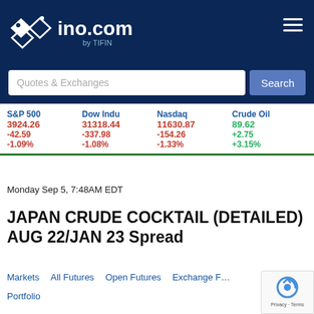[Figure (logo): INO.com by TIFIN logo with diamond/cross icon on dark navy background]
Quotes & Exchanges
Search
| S&P 500 | Dow Indu | Nasdaq | Crude Oil |
| --- | --- | --- | --- |
| 3924.26 | 31318.44 | 11630.87 | 89.62 |
| -42.59 | -337.98 | -154.26 | +2.75 |
| -1.09% | -1.08% | -1.33% | +3.15% |
Monday Sep 5, 7:48AM EDT
JAPAN CRUDE COCKTAIL (DETAILED) AUG 22/JAN 23 Spread
Markets   All Futures   Open Futures   Exchange F…
Portfolio